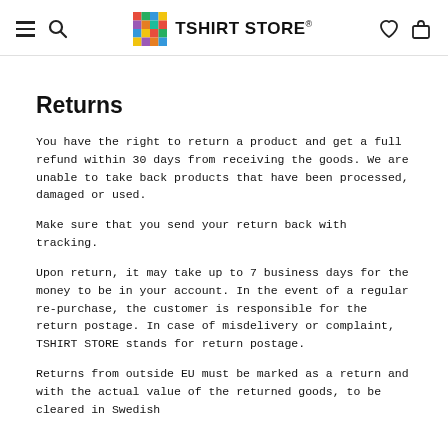TSHIRT STORE®
Returns
You have the right to return a product and get a full refund within 30 days from receiving the goods. We are unable to take back products that have been processed, damaged or used.
Make sure that you send your return back with tracking.
Upon return, it may take up to 7 business days for the money to be in your account. In the event of a regular re-purchase, the customer is responsible for the return postage. In case of misdelivery or complaint, TSHIRT STORE stands for return postage.
Returns from outside EU must be marked as a return and with the actual value of the returned goods, to be cleared in Swedish